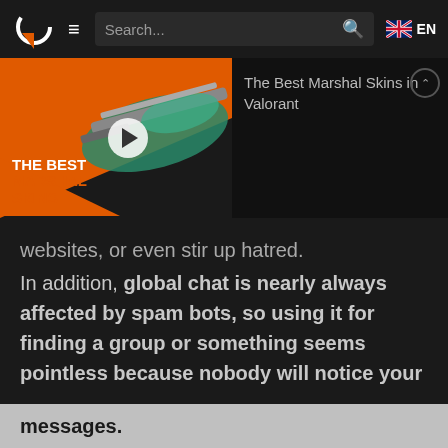Search... EN
[Figure (screenshot): Video thumbnail for 'The Best Marshal Skins in Valorant' showing a futuristic rifle with orange and dark background, with play button overlay and text overlay reading THE BEST MARSHAL SKINS in white and orange]
The Best Marshal Skins in Valorant
websites, or even stir up hatred.
In addition, global chat is nearly always affected by spam bots, so using it for finding a group or something seems pointless because nobody will notice your messages.